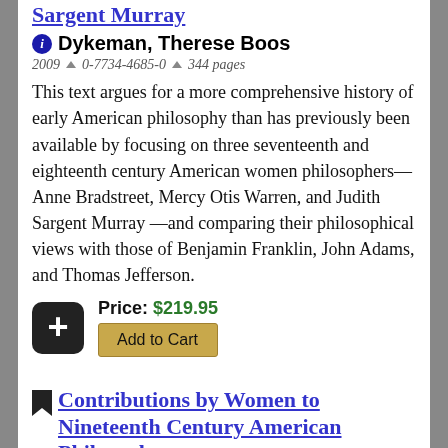Sargent Murray
Dykeman, Therese Boos
2009 ▲ 0-7734-4685-0 ▲ 344 pages
This text argues for a more comprehensive history of early American philosophy than has previously been available by focusing on three seventeenth and eighteenth century American women philosophers—Anne Bradstreet, Mercy Otis Warren, and Judith Sargent Murray —and comparing their philosophical views with those of Benjamin Franklin, John Adams, and Thomas Jefferson.
Price: $219.95
Add to Cart
Contributions by Women to Nineteenth Century American Philosophy